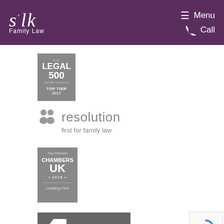[Figure (logo): Silk Family Law logo — white italic text on purple background with menu and call navigation buttons]
[Figure (logo): The Legal 500 United Kingdom Top Tier 2017 grey badge]
[Figure (logo): Resolution first for family law grey logo with two person icons]
[Figure (logo): Chambers UK 2016 Top Ranked Leading Firm grey badge]
[Figure (logo): Solicitors Regulation Authority grey badge with arrow icon]
[Figure (logo): reCAPTCHA widget with Privacy and Terms links]